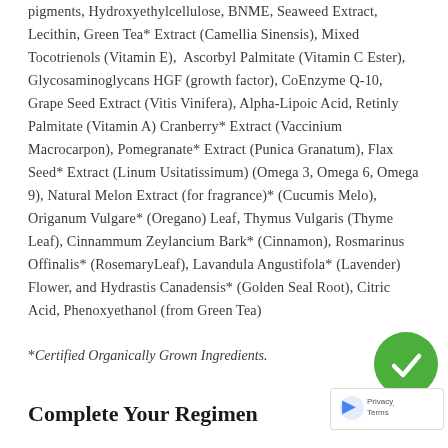pigments, Hydroxyethylcellulose, BNME, Seaweed Extract, Lecithin, Green Tea* Extract (Camellia Sinensis), Mixed Tocotrienols (Vitamin E), Ascorbyl Palmitate (Vitamin C Ester), Glycosaminoglycans HGF (growth factor), CoEnzyme Q-10, Grape Seed Extract (Vitis Vinifera), Alpha-Lipoic Acid, Retinly Palmitate (Vitamin A) Cranberry* Extract (Vaccinium Macrocarpon), Pomegranate* Extract (Punica Granatum), Flax Seed* Extract (Linum Usitatissimum) (Omega 3, Omega 6, Omega 9), Natural Melon Extract (for fragrance)* (Cucumis Melo), Origanum Vulgare* (Oregano) Leaf, Thymus Vulgaris (Thyme Leaf), Cinnammum Zeylancium Bark* (Cinnamon), Rosmarinus Offinalis* (RosemaryLeaf), Lavandula Angustifola* (Lavender) Flower, and Hydrastis Canadensis* (Golden Seal Root), Citric Acid, Phenoxyethanol (from Green Tea)
*Certified Organically Grown Ingredients.
Complete Your Regimen